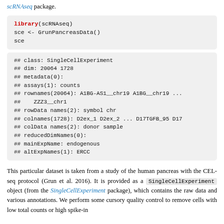scRNAseq package.
[Figure (screenshot): R code block: library(scRNAseq), sce <- GrunPancreasData(), sce]
[Figure (screenshot): R output block showing SingleCellExperiment object summary: class, dim, metadata, assays, rownames, rowData, colnames, colData, reducedDimNames, mainExpName, altExpNames]
This particular dataset is taken from a study of the human pancreas with the CEL-seq protocol (Grun et al. 2016). It is provided as a SingleCellExperiment object (from the SingleCellExperiment package), which contains the raw data and various annotations. We perform some cursory quality control to remove cells with low total counts or high spike-in